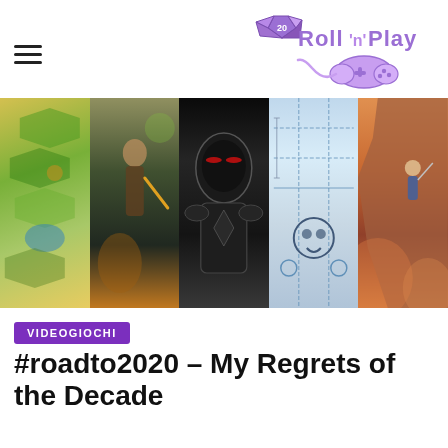[Figure (logo): Roll n Play logo with d20 dice and game controller, purple text on white background]
[Figure (photo): Collage banner of 5 video game images side by side: Civilization hex map, action RPG warrior, dark armored villain, blueprint/schematic with skull, fantasy cliff climber]
VIDEOGIOCHI
#roadto2020 – My Regrets of the Decade